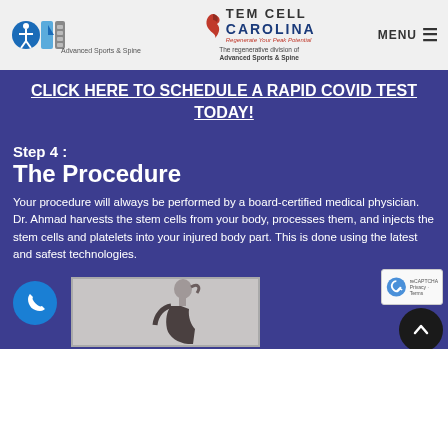Advanced Sports & Spine | Stem Cell Carolina — The regenerative division of Advanced Sports & Spine | MENU
CLICK HERE TO SCHEDULE A RAPID COVID TEST TODAY!
Step 4 :
The Procedure
Your procedure will always be performed by a board-certified medical physician. Dr. Ahmad harvests the stem cells from your body, processes them, and injects the stem cells and platelets into your injured body part. This is done using the latest and safest technologies.
[Figure (photo): Partial view of a woman in profile at the bottom of the page, inside a bordered box. A phone call button icon on the left. reCAPTCHA widget and back-to-top arrow button overlaid on the right.]